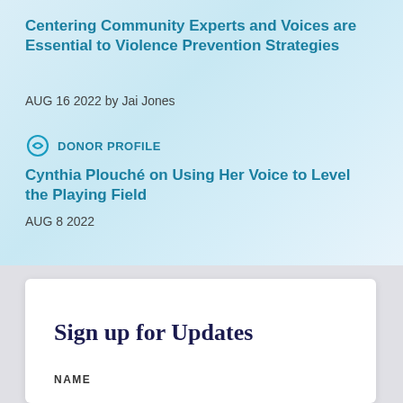Centering Community Experts and Voices are Essential to Violence Prevention Strategies
AUG 16 2022 by Jai Jones
DONOR PROFILE
Cynthia Plouché on Using Her Voice to Level the Playing Field
AUG 8 2022
Sign up for Updates
NAME